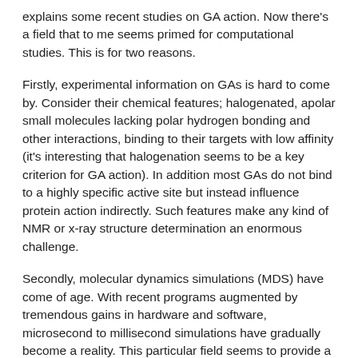explains some recent studies on GA action. Now there's a field that to me seems primed for computational studies. This is for two reasons.
Firstly, experimental information on GAs is hard to come by. Consider their chemical features; halogenated, apolar small molecules lacking polar hydrogen bonding and other interactions, binding to their targets with low affinity (it's interesting that halogenation seems to be a key criterion for GA action). In addition most GAs do not bind to a highly specific active site but instead influence protein action indirectly. Such features make any kind of NMR or x-ray structure determination an enormous challenge.
Secondly, molecular dynamics simulations (MDS) have come of age. With recent programs augmented by tremendous gains in hardware and software, microsecond to millisecond simulations have gradually become a reality. This particular field seems to provide a classic and worthy challenge for MDS, since GAs seem to interact indirectly and subtly with proteins by influencing their local and global dynamics rather than binding to well-defined active pockets